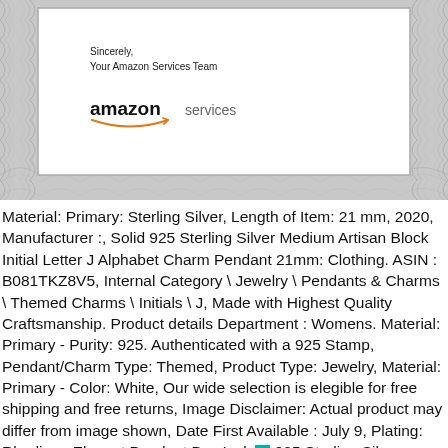[Figure (illustration): Amazon Services certificate/letter section with decorative guilloche border pattern, white inner panel containing closing salutation 'Sincerely, Your Amazon Services Team' and Amazon Services logo with smile]
Material: Primary: Sterling Silver, Length of Item: 21 mm, 2020, Manufacturer :, Solid 925 Sterling Silver Medium Artisan Block Initial Letter J Alphabet Charm Pendant 21mm: Clothing. ASIN : B081TKZ8V5, Internal Category \ Jewelry \ Pendants & Charms \ Themed Charms \ Initials \ J, Made with Highest Quality Craftsmanship. Product details Department : Womens. Material: Primary - Purity: 925. Authenticated with a 925 Stamp, Pendant/Charm Type: Themed, Product Type: Jewelry, Material: Primary - Color: White, Our wide selection is elegible for free shipping and free returns, Image Disclaimer: Actual product may differ from image shown, Date First Available : July 9, Plating: Rhodium, Elegant Pendant Box Inclu 925 Sterling Silver GUARANTEED. Plating Color: Silver Tone, Width em: 13-15 mm. Buy Solid 925 Sterling Silver Medium Artisan Block Initial